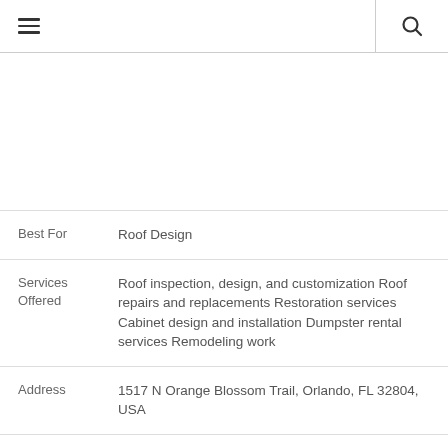≡  🔍
|  |  |
| --- | --- |
| Best For | Roof Design |
| Services Offered | Roof inspection, design, and customization Roof repairs and replacements Restoration services Cabinet design and installation Dumpster rental services Remodeling work |
| Address | 1517 N Orange Blossom Trail, Orlando, FL 32804, USA |